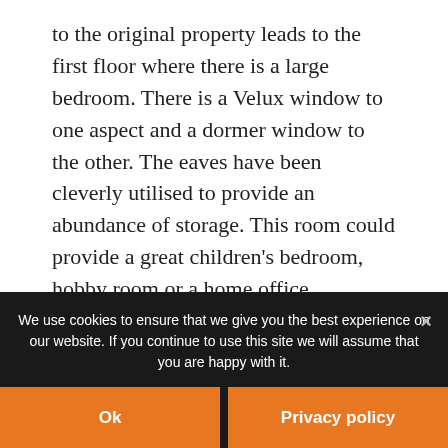to the original property leads to the first floor where there is a large bedroom. There is a Velux window to one aspect and a dormer window to the other. The eaves have been cleverly utilised to provide an abundance of storage. This room could provide a great children's bedroom, hobby room or a home office.
Back To Search
[Figure (map): Google Maps view showing Nairn Beach area with Map and Satellite toggle buttons]
We use cookies to ensure that we give you the best experience on our website. If you continue to use this site we will assume that you are happy with it.
Ok
Privacy policy